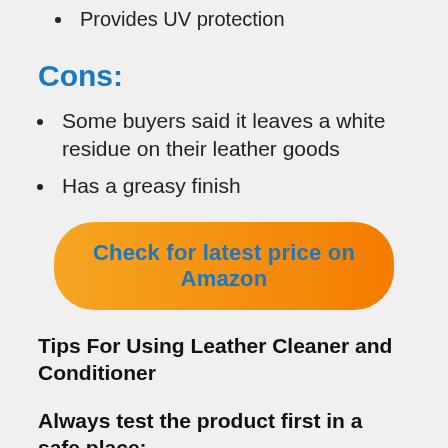Provides UV protection
Cons:
Some buyers said it leaves a white residue on their leather goods
Has a greasy finish
Check for latest price on Amazon
Tips For Using Leather Cleaner and Conditioner
Always test the product first in a safe place: